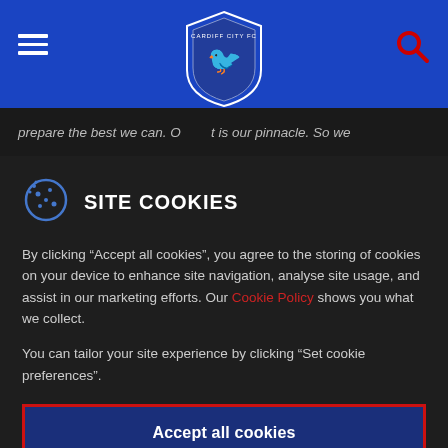Cardiff City FC navigation header with hamburger menu, club crest logo, and search icon
prepare the best we can. O__t is our pinnacle. So we th___ __ ___ ___ _____ __
SITE COOKIES
By clicking “Accept all cookies”, you agree to the storing of cookies on your device to enhance site navigation, analyse site usage, and assist in our marketing efforts. Our Cookie Policy shows you what we collect.
You can tailor your site experience by clicking “Set cookie preferences”.
Accept all cookies
Set Cookie Preferences